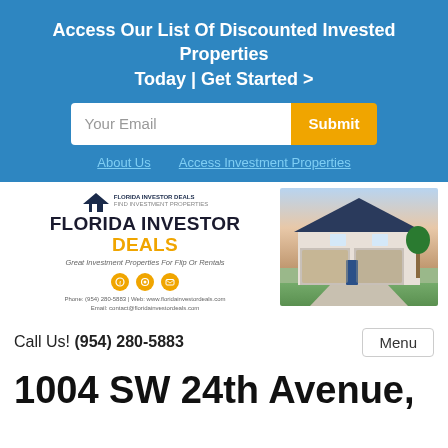Access Our List Of Discounted Invested Properties Today | Get Started >
Your Email
Submit
About Us    Access Investment Properties
[Figure (logo): Florida Investor Deals brand card with logo, tagline 'Great Investment Properties For Flip Or Rentals', social icons, phone and email contact]
[Figure (photo): Photo of a suburban house with two-car garage at dusk/twilight with blue sky]
Call Us! (954) 280-5883
Menu
1004 SW 24th Avenue,